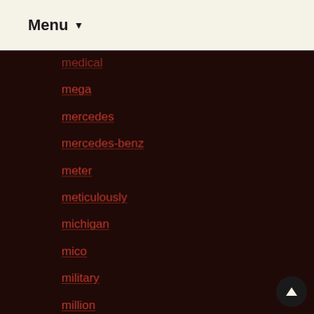Menu
medical
mega
mercedes
mercedes-benz
meter
meticulously
michigan
mico
military
million
mills
miniature
minnesota
mintu